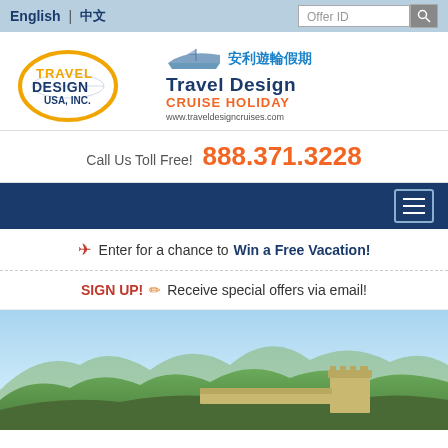English | 中文
[Figure (logo): Travel Design USA, Inc. logo with circular globe graphic, and Travel Design Cruise Holiday logo with Chinese text 安利遊輪假期 and website www.traveldesigncruises.com]
Call Us Toll Free! 888.371.3228
[Figure (screenshot): Dark blue navigation bar with hamburger menu icon]
✈ Enter for a chance to Win a Free Vacation!
SIGN UP! ✏ Receive special offers via email!
[Figure (photo): Photo of the Great Wall of China with green mountains in the background and blue sky]